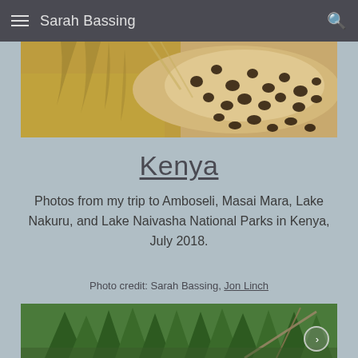Sarah Bassing
[Figure (photo): Close-up photo of a cheetah's spotted fur and body against dry grass background]
Kenya
Photos from my trip to Amboseli, Masai Mara, Lake Nakuru, and Lake Naivasha National Parks in Kenya, July 2018.
Photo credit: Sarah Bassing, Jon Linch
[Figure (photo): Bottom portion of a forest scene with green pine trees and dead/fallen trees, partially visible]